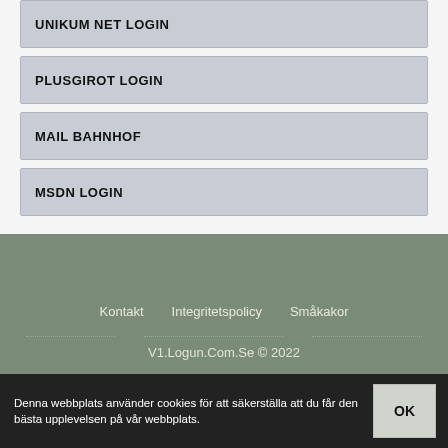UNIKUM NET LOGIN
PLUSGIROT LOGIN
MAIL BAHNHOF
MSDN LOGIN
Kontakt   Integritetspolicy   Småkakor
V1.Logun.Com.Se © 2022
Denna webbplats använder cookies för att säkerställa att du får den bästa upplevelsen på vår webbplats.